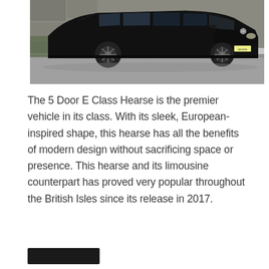[Figure (photo): A black Mercedes-Benz E Class hearse photographed from the side, parked on a road with a stone wall in the background. The vehicle is sleek and elongated, showing its funeral hearse body style.]
The 5 Door E Class Hearse is the premier vehicle in its class. With its sleek, European-inspired shape, this hearse has all the benefits of modern design without sacrificing space or presence. This hearse and its limousine counterpart has proved very popular throughout the British Isles since its release in 2017.
[Figure (other): A dark rectangular button (partially visible at the bottom of the page)]